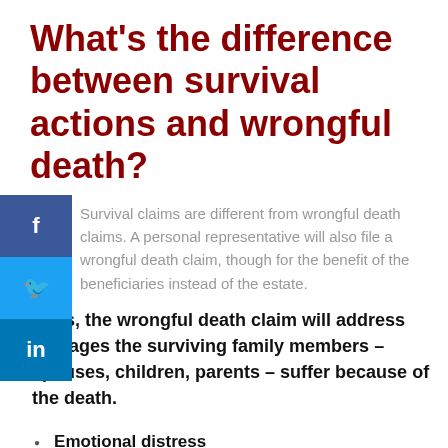What's the difference between survival actions and wrongful death?
Survival claims are different from wrongful death claims. A personal representative will also file a wrongful death claim, though for the benefit of the beneficiaries instead of the estate.
Thus, the wrongful death claim will address damages the surviving family members – spouses, children, parents – suffer because of the death.
Emotional distress
Loss of guidance
Loss of services